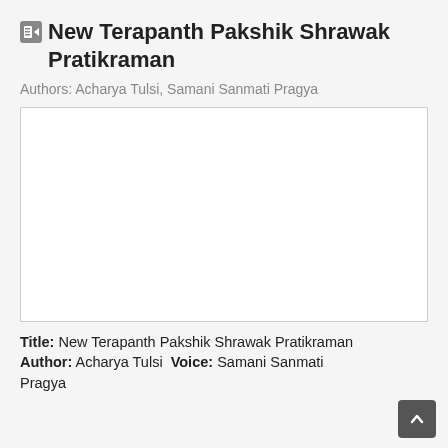New Terapanth Pakshik Shrawak Pratikraman
Authors: Acharya Tulsi, Samani Sanmati Pragya
[Figure (other): Book cover image placeholder — white rectangle with a border]
Title: New Terapanth Pakshik Shrawak Pratikraman Author: Acharya Tulsi Voice: Samani Sanmati Pragya